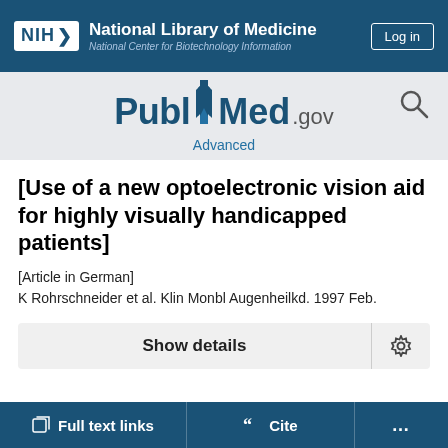[Figure (logo): NIH National Library of Medicine - National Center for Biotechnology Information header bar with Log in button]
[Figure (logo): PubMed.gov logo with search icon and Advanced link]
[Use of a new optoelectronic vision aid for highly visually handicapped patients]
[Article in German]
K Rohrschneider et al. Klin Monbl Augenheilkd. 1997 Feb.
Show details
Full text links
Cite
...